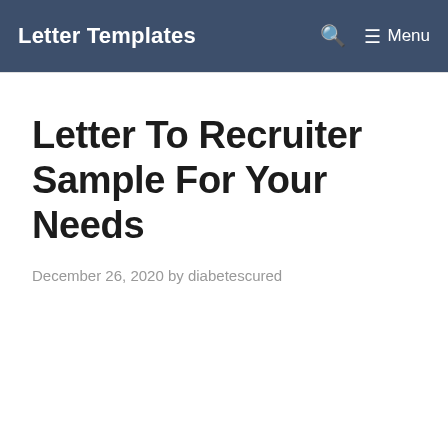Letter Templates  🔍  ☰ Menu
Letter To Recruiter Sample For Your Needs
December 26, 2020 by diabetescured